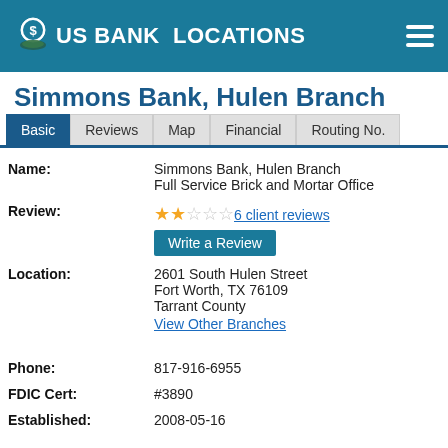US BANK LOCATIONS
Simmons Bank, Hulen Branch
| Name: | Simmons Bank, Hulen Branch
Full Service Brick and Mortar Office |
| Review: | ★★☆☆☆ 6 client reviews
Write a Review |
| Location: | 2601 South Hulen Street
Fort Worth, TX 76109
Tarrant County
View Other Branches |
| Phone: | 817-916-6955 |
| FDIC Cert: | #3890 |
| Established: | 2008-05-16 |